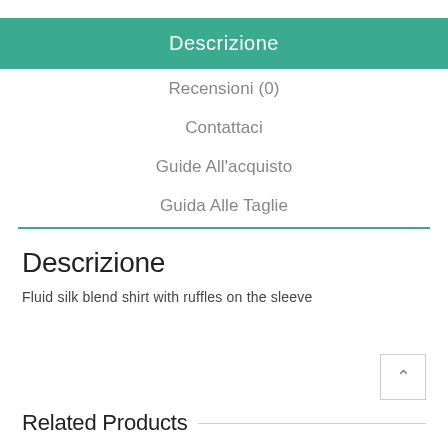Descrizione
Recensioni (0)
Contattaci
Guide All'acquisto
Guida Alle Taglie
Descrizione
Fluid silk blend shirt with ruffles on the sleeve
Related Products